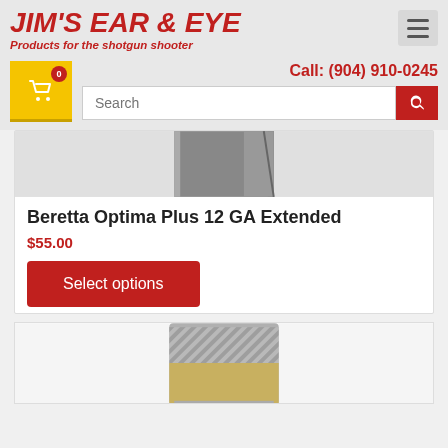JIM'S EAR & EYE — Products for the shotgun shooter
Call: (904) 910-0245
[Figure (photo): Partial view of a shotgun choke tube, metallic grey, top portion cropped]
Beretta Optima Plus 12 GA Extended
$55.00
Select options
[Figure (photo): Shotgun choke tube with knurled top section, metallic finish, bottom portion of image]